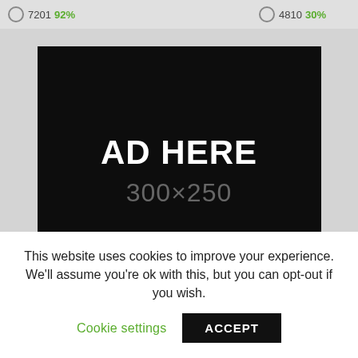7201  92%    4810  30%
[Figure (other): Black advertisement placeholder box showing 'AD HERE' in white bold text and '300x250' in gray text below]
This website uses cookies to improve your experience. We'll assume you're ok with this, but you can opt-out if you wish.
Cookie settings   ACCEPT